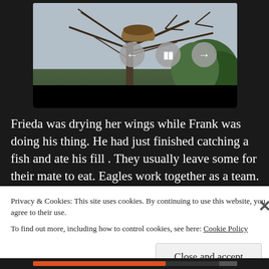[Figure (photo): A photo of an eagle nest in a bare tree top, with conifer branches visible on the right. The image has playback controls (left arrow, pause, right arrow) overlaid in the center. A black bar spans the bottom of the photo area.]
Frieda was drying her wings while Frank was doing his thing. He had just finished catching a fish and ate his fill . They usually leave some for their mate to eat. Eagles work together as a team. Consider them a small gang!
Frank was wiping his beak off. They always sleep
Privacy & Cookies: This site uses cookies. By continuing to use this website, you agree to their use.
To find out more, including how to control cookies, see here: Cookie Policy
Close and accept